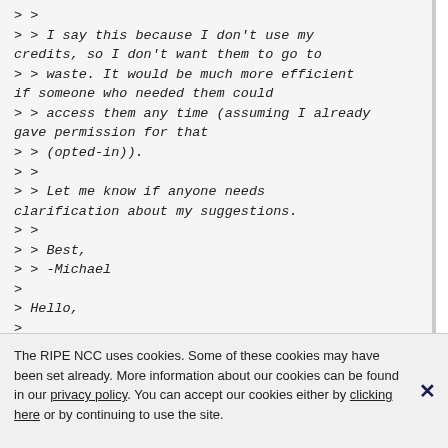> >
> > I say this because I don't use my credits, so I don't want them to go to
> > waste. It would be much more efficient if someone who needed them could
> > access them any time (assuming I already gave permission for that
> > (opted-in)).
> >
> > Let me know if anyone needs clarification about my suggestions.
> >
> > Best,
> > -Michael
>
> Hello,
>
> As Hank mentioned, the "standing order" is indeed the function to solve
> (1). and "share access" lets you authorise
The RIPE NCC uses cookies. Some of these cookies may have been set already. More information about our cookies can be found in our privacy policy. You can accept our cookies either by clicking here or by continuing to use the site.